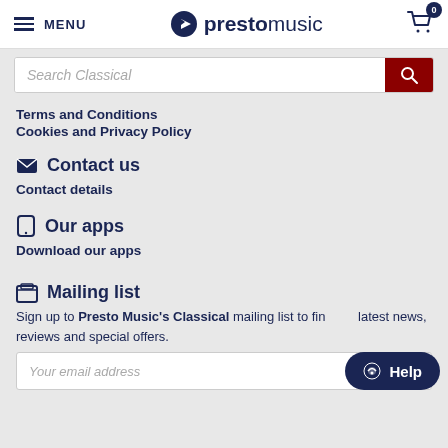MENU | prestomusic | cart 0
Search Classical
Terms and Conditions
Cookies and Privacy Policy
Contact us
Contact details
Our apps
Download our apps
Mailing list
Sign up to Presto Music's Classical mailing list to find the latest news, reviews and special offers.
Your email address